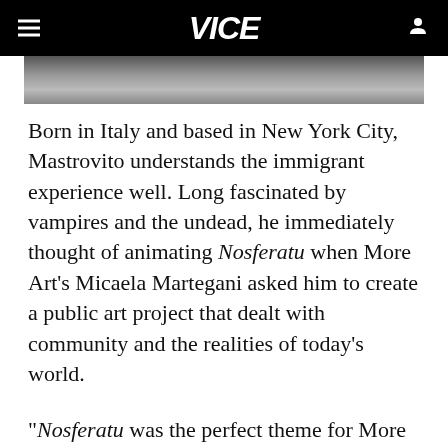VICE
[Figure (photo): Black and white photograph, partial view — top strip of an image]
Born in Italy and based in New York City, Mastrovito understands the immigrant experience well. Long fascinated by vampires and the undead, he immediately thought of animating Nosferatu when More Art's Micaela Martegani asked him to create a public art project that dealt with community and the realities of today's world.
"Nosferatu was the perfect theme for More Art, because mainly it is the story of somebody who is coming from another place, on the coast…